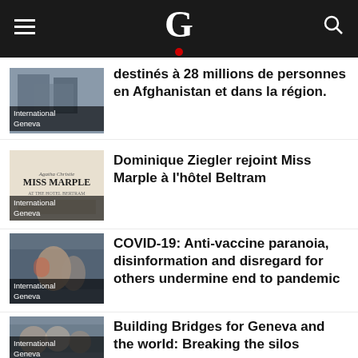G
destinés à 28 millions de personnes en Afghanistan et dans la région.
Dominique Ziegler rejoint Miss Marple à l'hôtel Beltram
COVID-19: Anti-vaccine paranoia, disinformation and disregard for others undermine end to pandemic
Building Bridges for Geneva and the world: Breaking the silos